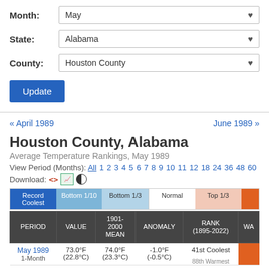Month: May
State: Alabama
County: Houston County
Update
« April 1989
June 1989 »
Houston County, Alabama
Average Temperature Rankings, May 1989
View Period (Months): All 1 2 3 4 5 6 7 8 9 10 11 12 18 24 36 48 60
Download:
| PERIOD | VALUE | 1901-2000 MEAN | ANOMALY | RANK (1895-2022) | WA... |
| --- | --- | --- | --- | --- | --- |
| May 1989
1-Month | 73.0°F
(22.8°C) | 74.0°F
(23.3°C) | -1.0°F
(-0.5°C) | 41st Coolest | Co... |
|  |  |  |  | 88th Warmest |  |